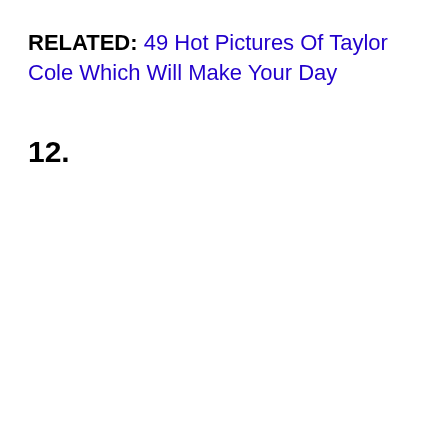RELATED: 49 Hot Pictures Of Taylor Cole Which Will Make Your Day
12.